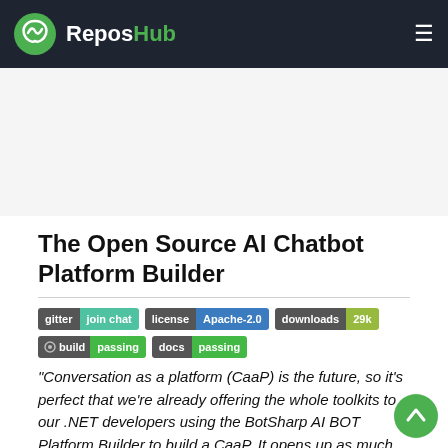ReposHub
[Figure (other): Advertisement placeholder area (blank/grey rectangle)]
The Open Source AI Chatbot Platform Builder
[Figure (other): Badge row: gitter join chat | license Apache-2.0 | downloads 29k | build passing | docs passing]
"Conversation as a platform (CaaP) is the future, so it's perfect that we're already offering the whole toolkits to our .NET developers using the BotSharp AI BOT Platform Builder to build a CaaP. It opens up as much learning power as possible for your own robots and precisely control every step of the AI processing